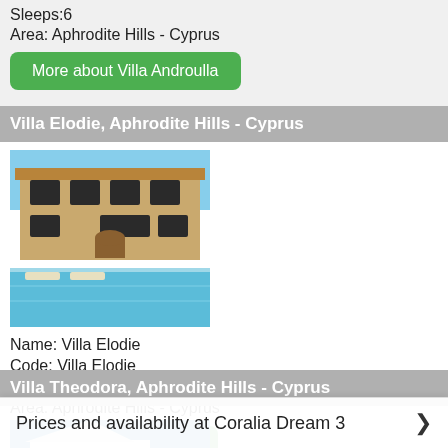Sleeps:6
Area: Aphrodite Hills - Cyprus
More about Villa Androulla
Villa Elodie, Aphrodite Hills - Cyprus
[Figure (photo): Photo of Villa Elodie with pool]
Name: Villa Elodie
Code: Villa Elodie
Sleeps:4
Area: Aphrodite Hills - Cyprus
More about Villa Elodie
Villa Theodora, Aphrodite Hills - Cyprus
[Figure (photo): Partial photo of Villa Theodora]
Prices and availability at Coralia Dream 3